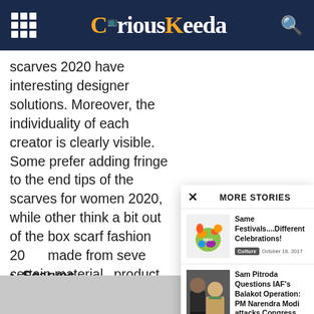CuriousKeeda
scarves 2020 have interesting designer solutions. Moreover, the individuality of each creator is clearly visible. Some prefer adding fringe to the end tips of the scarves for women 2020, while other think a bit out of scarf fashion 20 made from seve certain material product stand o
Scarves-
MORE STORIES
Same Festivals....Different Celebrations!
Culture   October 18, 2017
Sam Pitroda Questions IAF's Balakot Operation: PM Narendra Modi attacks Congress.
NEWS   March 23, 2019